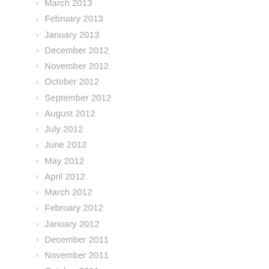March 2013
February 2013
January 2013
December 2012
November 2012
October 2012
September 2012
August 2012
July 2012
June 2012
May 2012
April 2012
March 2012
February 2012
January 2012
December 2011
November 2011
October 2011
September 2011